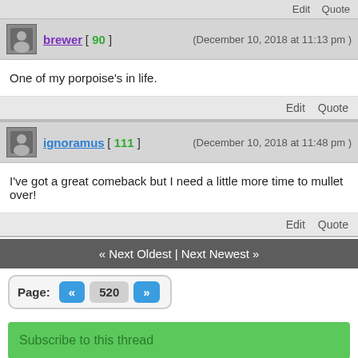Edit  Quote
brewer [ 90 ]  (December 10, 2018 at 11:13 pm)
One of my porpoise's in life.
Edit  Quote
ignoramus [ 111 ]  (December 10, 2018 at 11:48 pm)
I've got a great comeback but I need a little more time to mullet over!
Edit  Quote
« Next Oldest | Next Newest »
Page:  «  520  »
Subscribe to this thread
atheist forums   return to top
MyBB Mobile Version. Switch to Full Version The views expressed on this website are those of the members who express them and